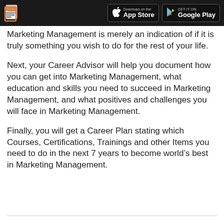App Store | Google Play
Marketing Management is merely an indication of if it is truly something you wish to do for the rest of your life.
Next, your Career Advisor will help you document how you can get into Marketing Management, what education and skills you need to succeed in Marketing Management, and what positives and challenges you will face in Marketing Management.
Finally, you will get a Career Plan stating which Courses, Certifications, Trainings and other Items you need to do in the next 7 years to become world’s best in Marketing Management.